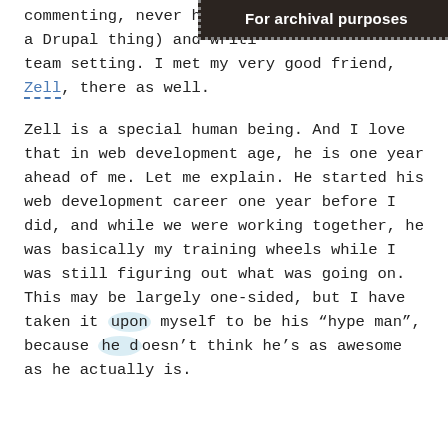commenting, never hack... a Drupal thing) and writi... team setting. I met my very good friend, Zell, there as well.
[Figure (other): Dark brown archival stamp/banner in top-right corner reading 'For archival purposes' with dotted border]
Zell is a special human being. And I love that in web development age, he is one year ahead of me. Let me explain. He started his web development career one year before I did, and while we were working together, he was basically my training wheels while I was still figuring out what was going on. This may be largely one-sided, but I have taken it upon myself to be his “hype man”, because he doesn’t think he’s as awesome as he actually is.